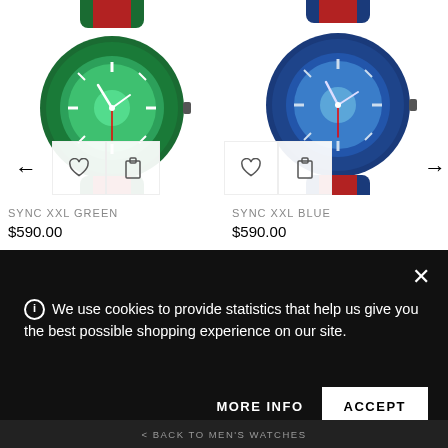[Figure (photo): Green Gucci Sync XXL watch with green and red striped band, shown from above at slight angle]
[Figure (photo): Blue Gucci Sync XXL watch with blue and red striped band, shown from above at slight angle]
SYNC XXL GREEN
$590.00
SYNC XXL BLUE
$590.00
We use cookies to provide statistics that help us give you the best possible shopping experience on our site.
MORE INFO
ACCEPT
BACK TO MEN'S WATCHES